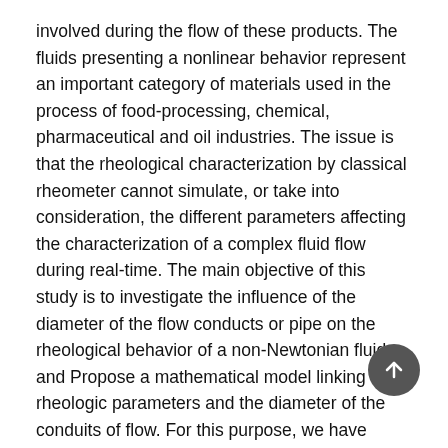involved during the flow of these products. The fluids presenting a nonlinear behavior represent an important category of materials used in the process of food-processing, chemical, pharmaceutical and oil industries. The issue is that the rheological characterization by classical rheometer cannot simulate, or take into consideration, the different parameters affecting the characterization of a complex fluid flow during real-time. The main objective of this study is to investigate the influence of the diameter of the flow conducts or pipe on the rheological behavior of a non-Newtonian fluid and Propose a mathematical model linking the rheologic parameters and the diameter of the conduits of flow. For this purpose, we have developed an experimental system based on the principal of a capillary rheometer.
Keywords: rhéologie, non-Newtonian fluids,